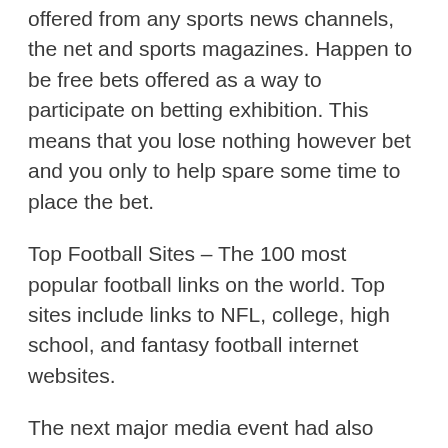offered from any sports news channels, the net and sports magazines. Happen to be free bets offered as a way to participate on betting exhibition. This means that you lose nothing however bet and you only to help spare some time to place the bet.
Top Football Sites – The 100 most popular football links on the world. Top sites include links to NFL, college, high school, and fantasy football internet websites.
The next major media event had also been connected with Sify. On November 28, 1999 the CEO of Satyam Infoway requested me to get to Mumbai to handle an important announcement. Yet not provide the details over the phone. The next morning I went right from the Mumbai airport to the office of DSP Merrill Lynch. There the investment